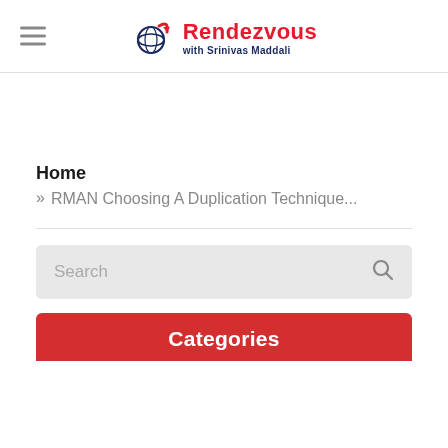Rendezvous with Srinivas Maddali
Home
» RMAN Choosing A Duplication Technique...
Search
Categories